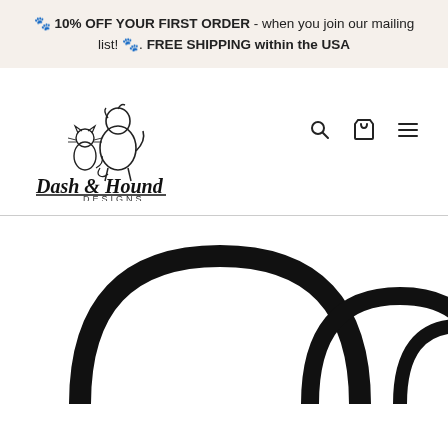🐾 10% OFF YOUR FIRST ORDER - when you join our mailing list! 🐾. FREE SHIPPING within the USA
[Figure (logo): Dash & Hound Designs logo with illustrated cat and dog sitting together, cursive text 'Dash & Hound' with underline, and 'DESIGNS' in small caps below]
[Figure (illustration): Three black arch/handle shapes of decreasing size from left to right, partially visible at bottom of page, likely product handles or bag strap options]